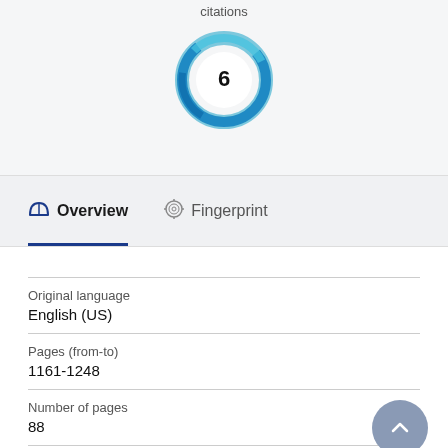citations
[Figure (donut-chart): Donut chart showing 6 citations, teal/blue swirl ring with white center displaying the number 6]
Overview
Fingerprint
Original language
English (US)
Pages (from-to)
1161-1248
Number of pages
88